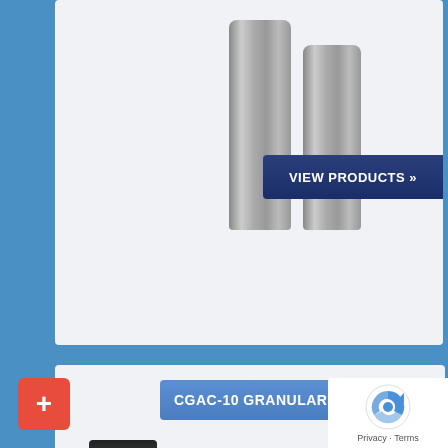[Figure (photo): Two silver/metal cylindrical filter cartridges of different heights on a light grey background]
VIEW PRODUCTS »
CGAC-10 GRANULAR CARBON
[Figure (photo): Blue cylindrical carbon filter cartridge with black cap (Carbflex CGAC-10)]
The Carbflex™ Series CGAC-10 Granular Activated Carbon Cartridges utilize advanced activated carbon technology, which results in excellent chloramine reduction as well as superior chlorine reduction.
VIEW PRODUCTS »